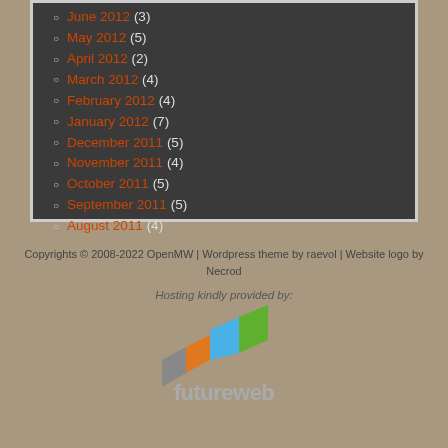June 2012 (3)
May 2012 (5)
April 2012 (2)
March 2012 (4)
February 2012 (4)
January 2012 (7)
December 2011 (5)
November 2011 (4)
October 2011 (5)
September 2011 (5)
August 2011 (4)
Copyrights © 2008-2022 OpenMW | Wordpress theme by raevol | Website logo by Necrod
Hosting kindly provided by:
[Figure (logo): Futureweb logo with colorful block tiles (grey, orange, blue, green) and 'futureweb' text in grey below]